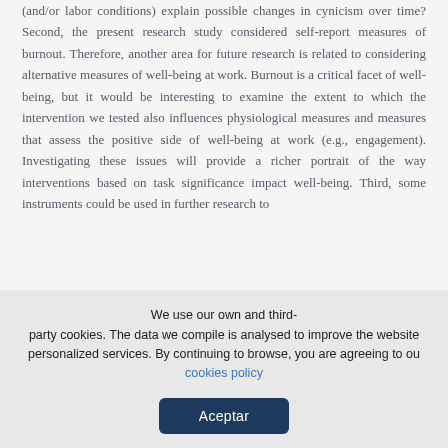(and/or labor conditions) explain possible changes in cynicism over time? Second, the present research study considered self-report measures of burnout. Therefore, another area for future research is related to considering alternative measures of well-being at work. Burnout is a critical facet of well-being, but it would be interesting to examine the extent to which the intervention we tested also influences physiological measures and measures that assess the positive side of well-being at work (e.g., engagement). Investigating these issues will provide a richer portrait of the way interventions based on task significance impact well-being. Third, some instruments could be used in further research to
We use our own and third-party cookies. The data we compile is analysed to improve the website personalized services. By continuing to browse, you are agreeing to our cookies policy